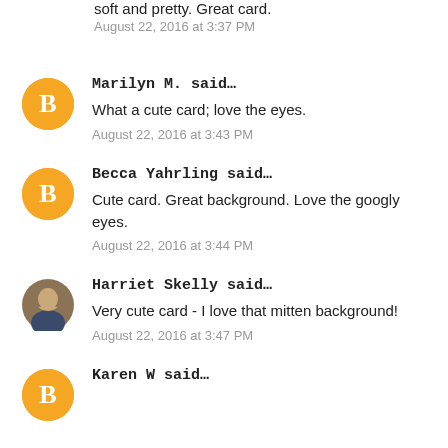soft and pretty. Great card.
August 22, 2016 at 3:37 PM
Marilyn M. said…
What a cute card; love the eyes.
August 22, 2016 at 3:43 PM
Becca Yahrling said…
Cute card. Great background. Love the googly eyes.
August 22, 2016 at 3:44 PM
Harriet Skelly said…
Very cute card - I love that mitten background!
August 22, 2016 at 3:47 PM
Karen W said…